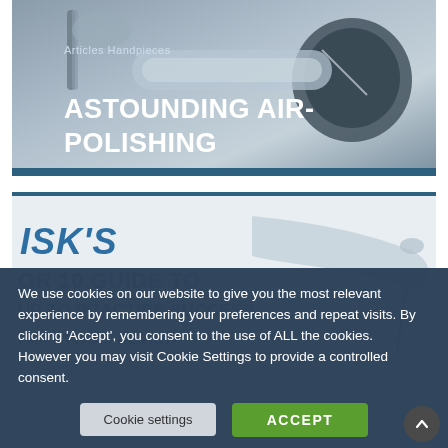[Figure (photo): Dental article card with handpiece tools on grey background. Category label 'Articles Handpieces' above large white title 'ASTOUNDING AIR-POLISHING'. Dark blue bar at bottom.]
[Figure (photo): Second article card showing partial title text 'ISK'S' in blue italic, with greyed-out text 'OR 10 GUIDE TO', 'UP TO PRACTICE SUCCESS', 'PART TWO... REVIEW' and a silver dental handpiece on right.]
We use cookies on our website to give you the most relevant experience by remembering your preferences and repeat visits. By clicking 'Accept', you consent to the use of ALL the cookies. However you may visit Cookie Settings to provide a controlled consent.
Cookie settings
ACCEPT